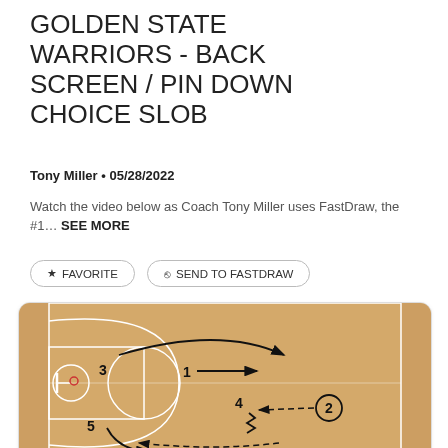GOLDEN STATE WARRIORS - BACK SCREEN / PIN DOWN CHOICE SLOB
Tony Miller • 05/28/2022
Watch the video below as Coach Tony Miller uses FastDraw, the #1… SEE MORE
★ FAVORITE
⎋ SEND TO FASTDRAW
[Figure (illustration): Basketball court diagram showing a SLOB (sideline out of bounds) play with players labeled 1, 2, 3, 4, 5 and arrows indicating movement: a curved arrow over the top from left to right near halfcourt, player 1 near the top of the key with an arrow moving right, player 2 on the right wing with a dashed arrow passing toward player 4, player 4 near the elbow receiving a screen from a zigzag line (indicating a screen), player 5 on the left low block with arrows moving toward the bottom center, and dashed arrows along the baseline.]